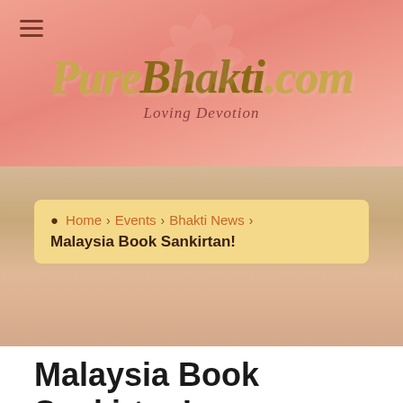[Figure (logo): PureBhakti.com logo with cursive golden text and tagline 'Loving Devotion' on a salmon/pink gradient background]
Home > Events > Bhakti News > Malaysia Book Sankirtan!
Malaysia Book Sankirtan!